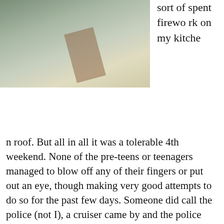[Figure (photo): Overhead or angled photo showing what appears to be a rooftop or outdoor surface with a red mark/line visible and a bowl-like object in the upper left corner.]
sort of spent firework on my kitchen roof. But all in all it was a tolerable 4th weekend. None of the pre-teens or teenagers managed to blow off any of their fingers or put out an eye, though making very good attempts to do so for the past few days. Someone did call the police (not I), a cruiser came by and the police said something to the kids that made them stop for all of 5 minutes.
There was the annual display of fireworks on the corner and it seems that it wasn't as big as last year. Walking around, other corners like 3rd and R, and spaces (yard of JF Cook) were used for DIY displays as firework junk lays strewn all over on the street. For my own block I am thankful we have 3